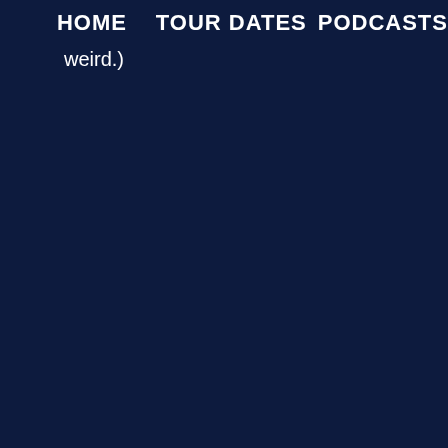HOME   TOUR DATES   PODCASTS
weird.)